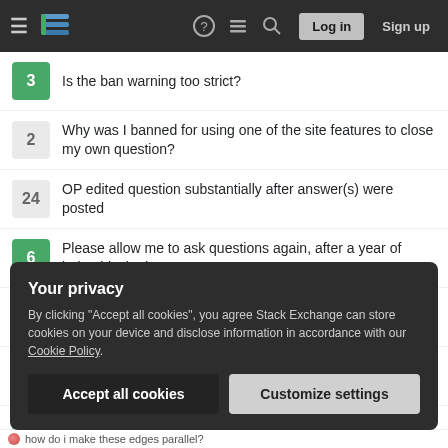Stack Exchange navigation header with Log in and Sign up buttons
3 | Is the ban warning too strict?
2 | Why was I banned for using one of the site features to close my own question?
24 | OP edited question substantially after answer(s) were posted
6 | Please allow me to ask questions again, after a year of being blocked
1 | I edited my question too many times
2 | Question ban: Which questions to improve how
Ban reinstated when I asked a new question after the existing...
Your privacy
By clicking "Accept all cookies", you agree Stack Exchange can store cookies on your device and disclose information in accordance with our Cookie Policy.
Accept all cookies | Customize settings
how do i make these edges parallel?